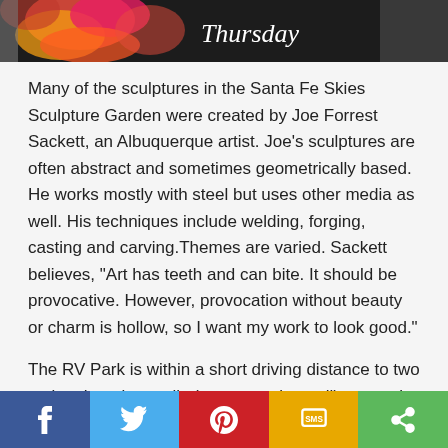[Figure (photo): Partial photo showing colorful flowers/decorations with white italic text reading 'Thursday' on dark background]
Many of the sculptures in the Santa Fe Skies Sculpture Garden were created by Joe Forrest Sackett, an Albuquerque artist. Joe's sculptures are often abstract and sometimes geometrically based. He works mostly with steel but uses other media as well. His techniques include welding, forging, casting and carving.Themes are varied. Sackett believes, "Art has teeth and can bite. It should be provocative. However, provocation without beauty or charm is hollow, so I want my work to look good."
The RV Park is within a short driving distance to two major shopping malls (one an outlet mall), several restaurants, a large supermarket and other local businesses. Santa Fe
[Figure (infographic): Social sharing bar with five buttons: Facebook (blue), Twitter (light blue), Pinterest (red), SMS (yellow/gold), Share (green)]